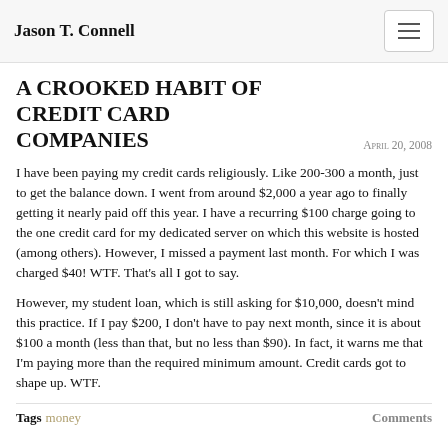Jason T. Connell
A Crooked Habit of Credit Card Companies
April 20, 2008
I have been paying my credit cards religiously. Like 200-300 a month, just to get the balance down. I went from around $2,000 a year ago to finally getting it nearly paid off this year. I have a recurring $100 charge going to the one credit card for my dedicated server on which this website is hosted (among others). However, I missed a payment last month. For which I was charged $40! WTF. That's all I got to say.
However, my student loan, which is still asking for $10,000, doesn't mind this practice. If I pay $200, I don't have to pay next month, since it is about $100 a month (less than that, but no less than $90). In fact, it warns me that I'm paying more than the required minimum amount. Credit cards got to shape up. WTF.
Tags money   Comments